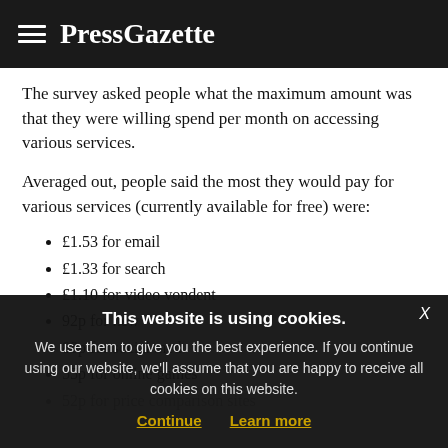PressGazette
The survey asked people what the maximum amount was that they were willing spend per month on accessing various services.
Averaged out, people said the most they would pay for various services (currently available for free) were:
£1.53 for email
£1.33 for search
£1.10 for video vondent
92p for new
88p for social med
55p for online games
52p for price comparison sites
This website is using cookies. We use them to give you the best experience. If you continue using our website, we'll assume that you are happy to receive all cookies on this website.